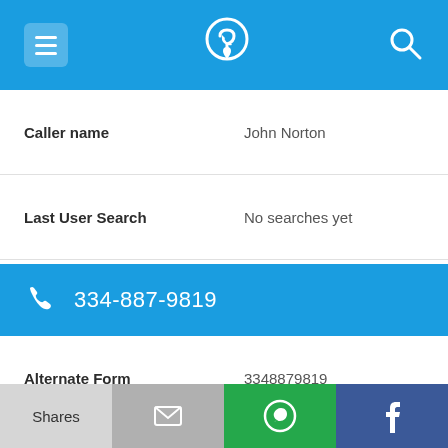[Figure (screenshot): Mobile app top navigation bar with hamburger menu, phone/location logo, and search icon on blue background]
| Caller name | John Norton |
| Last User Search | No searches yet |
| Comments | 0 |
334-887-9819
| Alternate Form | 3348879819 |
| Caller name | Charles Trammell |
| Last User Search | No searches yet |
[Figure (screenshot): Bottom action bar with Shares, email, WhatsApp, and Facebook buttons]